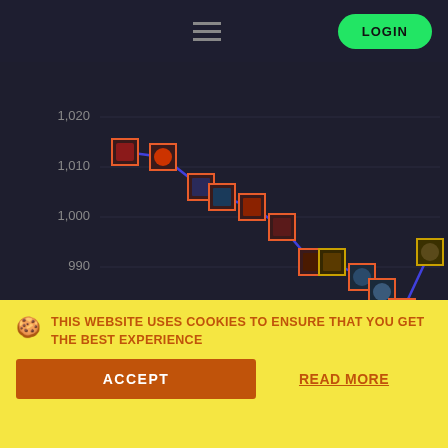LOGIN
[Figure (line-chart): Rating history line chart]
| Opponent | Score |
| --- | --- |
| vs BIG | 1 : 1 |
| vs SPARX | 0 : 2 |
| vs No Limit Gaming | 0 : 2 |
TEAM ROSTER
THIS WEBSITE USES COOKIES TO ENSURE THAT YOU GET THE BEST EXPERIENCE
ACCEPT
READ MORE